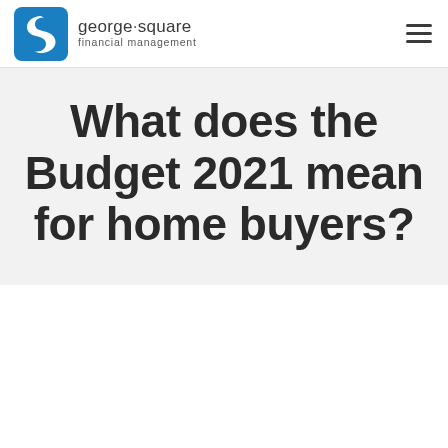[Figure (logo): George Square Financial Management logo — blue rounded square with white swan/S letter mark on the left, company name 'george·square financial management' in grey to the right]
What does the Budget 2021 mean for home buyers?